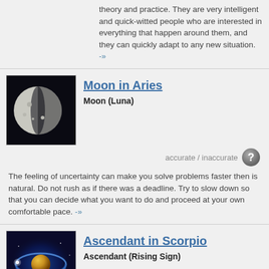theory and practice. They are very intelligent and quick-witted people who are interested in everything that happen around them, and they can quickly adapt to any new situation. -»
[Figure (photo): Moon image on dark background]
Moon in Aries
Moon (Luna)
accurate / inaccurate
The feeling of uncertainty can make you solve problems faster then is natural. Do not rush as if there was a deadline. Try to slow down so that you can decide what you want to do and proceed at your own comfortable pace. -»
[Figure (photo): Ascendant ring/planet illustration on blue background]
Ascendant in Scorpio
Ascendant (Rising Sign)
accurate / inaccurate
People with Scorpio on the Ascendant need to fight against dark and destructive power in their life. For some, this power can also come from within, in the form of jealousy, envy or lust for power. The dark and hidden things in the soul must come out. It can be reflected in artwork, for example... -»